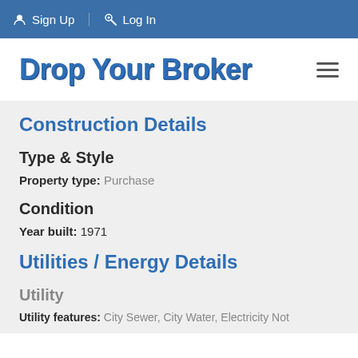Sign Up   Log In
Drop Your Broker
Construction Details
Type & Style
Property type: Purchase
Condition
Year built: 1971
Utilities / Energy Details
Utility
Utility features: City Sewer, City Water, Electricity Not